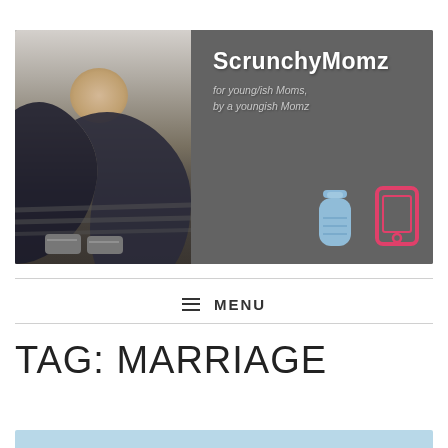[Figure (illustration): ScrunchyMomz blog banner showing a mother babywearing a baby in a dark wrap, with blog title 'ScrunchyMomz' and subtitle 'for young/ish Moms, by a youngish Momz' on a dark gray background with baby bottle and phone icons]
≡ MENU
TAG: MARRIAGE